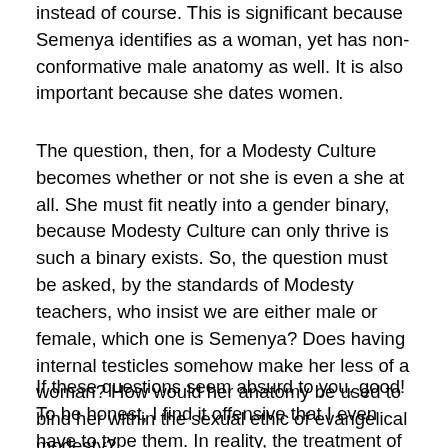instead of course. This is significant because Semenya identifies as a woman, yet has non-conformative male anatomy as well. It is also important because she dates women.
The question, then, for a Modesty Culture becomes whether or not she is even a she at all. She must fit neatly into a gender binary, because Modesty Culture can only thrive is such a binary exists. So, the question must be asked, by the standards of Modesty teachers, who insist we are either male or female, which one is Semenya? Does having internal testicles somehow make her less of a woman? How would her anatomy be used to bind her within the sexual ethic of evangelical modesty?
If these questions seem absurd to you, good! To be honest, I find it offensive that I even have to type them. In reality, the treatment of the Genesis passages alone